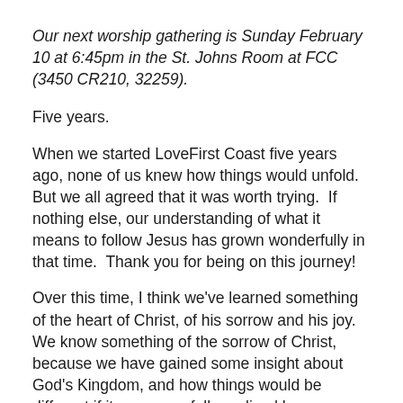Our next worship gathering is Sunday February 10 at 6:45pm in the St. Johns Room at FCC (3450 CR210, 32259).
Five years.
When we started LoveFirst Coast five years ago, none of us knew how things would unfold.  But we all agreed that it was worth trying.  If nothing else, our understanding of what it means to follow Jesus has grown wonderfully in that time.  Thank you for being on this journey!
Over this time, I think we've learned something of the heart of Christ, of his sorrow and his joy.  We know something of the sorrow of Christ, because we have gained some insight about God's Kingdom, and how things would be different if it was more fully realized here…